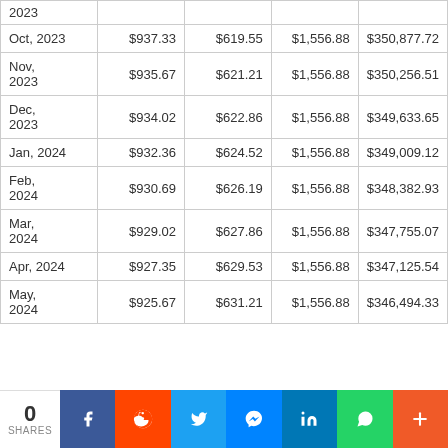| Date | Interest | Principal | Payment | Balance |
| --- | --- | --- | --- | --- |
| 2023 |  |  |  |  |
| Oct, 2023 | $937.33 | $619.55 | $1,556.88 | $350,877.72 |
| Nov, 2023 | $935.67 | $621.21 | $1,556.88 | $350,256.51 |
| Dec, 2023 | $934.02 | $622.86 | $1,556.88 | $349,633.65 |
| Jan, 2024 | $932.36 | $624.52 | $1,556.88 | $349,009.12 |
| Feb, 2024 | $930.69 | $626.19 | $1,556.88 | $348,382.93 |
| Mar, 2024 | $929.02 | $627.86 | $1,556.88 | $347,755.07 |
| Apr, 2024 | $927.35 | $629.53 | $1,556.88 | $347,125.54 |
| May, 2024 | $925.67 | $631.21 | $1,556.88 | $346,494.33 |